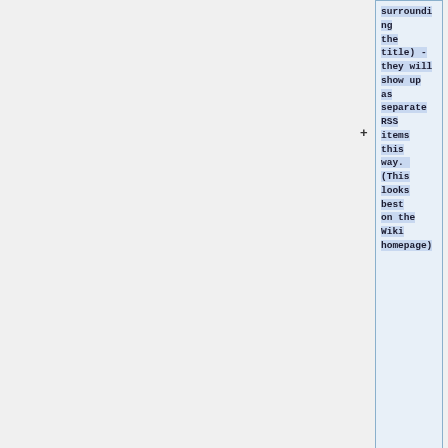surrounding the title) - they will show up as separate RSS items this way. (This looks best on the Wiki homepage)
* You must add a user signature at the end of each post via four tildes: ~~~~. Required for the RSS plugin to